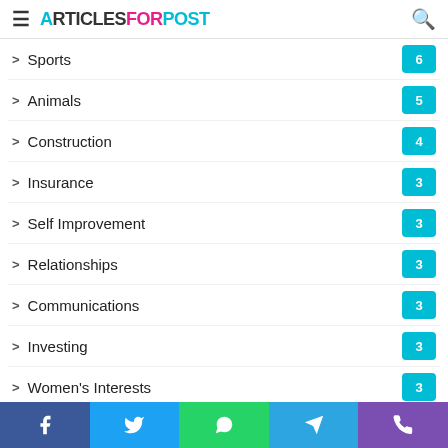ArticlesForPost
Sports 6
Animals 5
Construction 4
Insurance 3
Self Improvement 3
Relationships 3
Communications 3
Investing 3
Women's Interests 3
Events 1
Photography
Facebook Twitter WhatsApp Telegram Phone